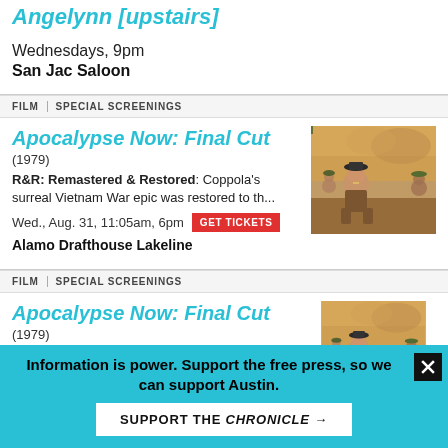Angelynn [upstairs]
Wednesdays, 9pm
San Jac Saloon
FILM  SPECIAL SCREENINGS
Apocalypse Now: Final Cut
(1979)
R&R: Remastered & Restored: Coppola's surreal Vietnam War epic was restored to th...
Wed., Aug. 31, 11:05am, 6pm  GET TICKETS
Alamo Drafthouse Lakeline
[Figure (photo): Still from Apocalypse Now: a shirtless soldier kneeling in a smoky, war-torn landscape with other soldiers behind him]
FILM  SPECIAL SCREENINGS
Apocalypse Now: Final Cut
(1979)
R&R: Remastered & Restored: Coppola's surreal Vietnam War epic was restored to th...
[Figure (photo): Still from Apocalypse Now: same image repeated]
Information is power. Support the free press, so we can support Austin.
SUPPORT THE CHRONICLE →